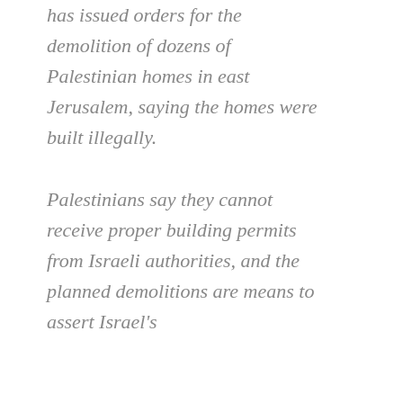has issued orders for the demolition of dozens of Palestinian homes in east Jerusalem, saying the homes were built illegally.

Palestinians say they cannot receive proper building permits from Israeli authorities, and the planned demolitions are means to assert Israel's